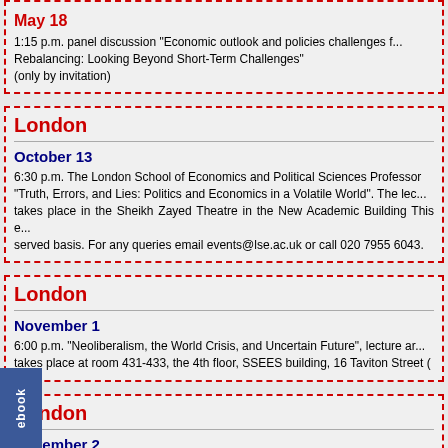May 18
1:15 p.m. panel discussion "Economic outlook and policies challenges f... Rebalancing: Looking Beyond Short-Term Challenges" (only by invitation)
London
October 13
6:30 p.m. The London School of Economics and Political Sciences Professor... "Truth, Errors, and Lies: Politics and Economics in a Volatile World". The lec... takes place in the Sheikh Zayed Theatre in the New Academic Building This e... served basis. For any queries email events@lse.ac.uk or call 020 7955 6043.
London
November 1
6:00 p.m. "Neoliberalism, the World Crisis, and Uncertain Future", lecture ar... takes place at room 431-433, the 4th floor, SSEES building, 16 Taviton Street (
London
November 2
6:00 p.m. Professor Grzegorz W. Kolodko presents his new book on... http://www.oup-columbia.edu/book/978-0-231-15068-2/truth-errors-and-lies...